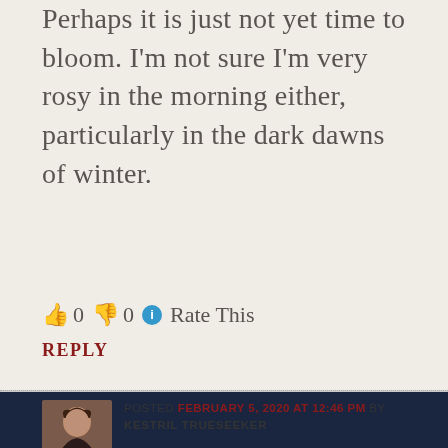Perhaps it is just not yet time to bloom. I'm not sure I'm very rosy in the morning either, particularly in the dark dawns of winter.
👍 0 👎 0 ℹ Rate This
REPLY
POSTED FEBRUARY 5, 2020 AT 12:46 PM BY KESTRIL TRUESEEKER
Some things are worth making time for, especially if we feel like